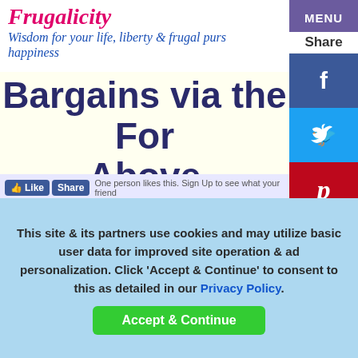Frugalicity
Wisdom for your life, liberty & frugal purs happiness
Bargains via the Form Above
One person likes this. Sign Up to see what your friends
[Figure (photo): Outdoor photo showing trees and sky in background, appears to be a parking lot or exterior area]
This site & its partners use cookies and may utilize basic user data for improved site operation & ad personalization. Click 'Accept & Continue' to consent to this as detailed in our Privacy Policy.
Accept & Continue